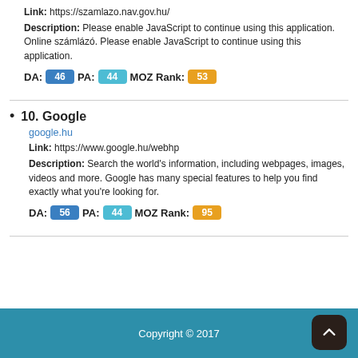Link: https://szamlazo.nav.gov.hu/
Description: Please enable JavaScript to continue using this application. Online számlázó. Please enable JavaScript to continue using this application.
DA: 46  PA: 44  MOZ Rank: 53
10. Google
google.hu
Link: https://www.google.hu/webhp
Description: Search the world's information, including webpages, images, videos and more. Google has many special features to help you find exactly what you're looking for.
DA: 56  PA: 44  MOZ Rank: 95
Copyright © 2017